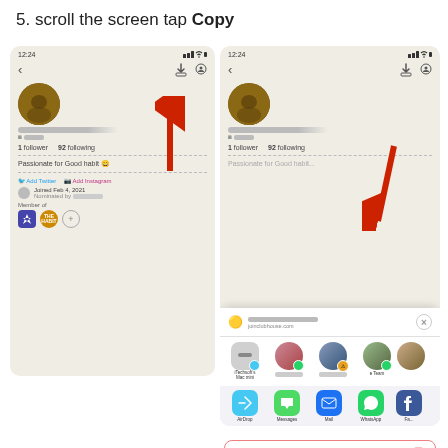5. scroll the screen tap Copy
[Figure (screenshot): Left phone screenshot showing Clubhouse profile page with share button at top, red arrow pointing up to share icon. Profile shows 1 follower, 92 following, bio 'Passionate for Good habit', Add Twitter, Add Instagram links, joined Feb 4 2021, Member of section with badges.]
[Figure (screenshot): Right phone screenshot showing same Clubhouse profile with a share sheet open at bottom. Red arrow pointing down to share sheet. Share sheet shows joinclubhouse.com link, contact avatars (iTechsoft's Mac mini, others), app icons (AirDrop, Messages, Mail, WhatsApp, Fa...), and Copy button at bottom highlighted with pink/red border.]